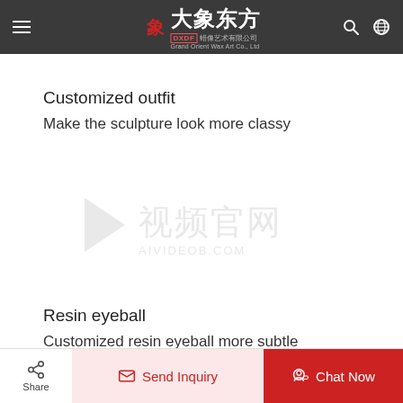大象东方 蜡像艺术有限公司 DXDF Grand Orient Wax Art Co., Ltd
Customized outfit
Make the sculpture look more classy
[Figure (other): Watermark logo with play button icon, Chinese text '视频官网' and text 'AIVIDEOB.COM']
Resin eyeball
Customized resin eyeball more subtle
Share | Send Inquiry | Chat Now